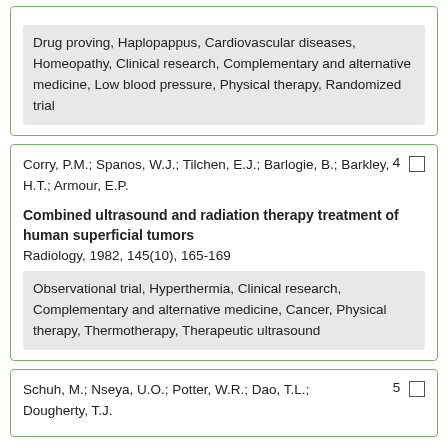Drug proving, Haplopappus, Cardiovascular diseases, Homeopathy, Clinical research, Complementary and alternative medicine, Low blood pressure, Physical therapy, Randomized trial
Corry, P.M.; Spanos, W.J.; Tilchen, E.J.; Barlogie, B.; Barkley, H.T.; Armour, E.P.
Combined ultrasound and radiation therapy treatment of human superficial tumors
Radiology, 1982, 145(10), 165-169
Observational trial, Hyperthermia, Clinical research, Complementary and alternative medicine, Cancer, Physical therapy, Thermotherapy, Therapeutic ultrasound
Schuh, M.; Nseya, U.O.; Potter, W.R.; Dao, T.L.; Dougherty, T.J.